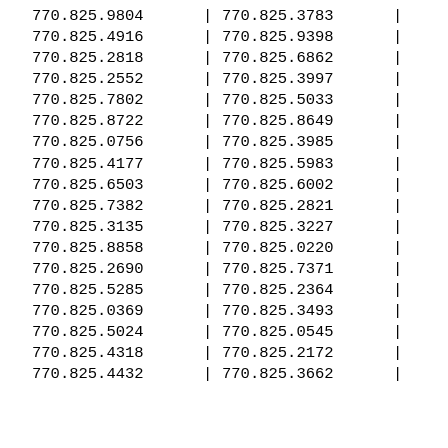| Col1 | Sep | Col2 | Sep2 |
| --- | --- | --- | --- |
| 770.825.9804 | | | 770.825.3783 | | |
| 770.825.4916 | | | 770.825.9398 | | |
| 770.825.2818 | | | 770.825.6862 | | |
| 770.825.2552 | | | 770.825.3997 | | |
| 770.825.7802 | | | 770.825.5033 | | |
| 770.825.8722 | | | 770.825.8649 | | |
| 770.825.0756 | | | 770.825.3985 | | |
| 770.825.4177 | | | 770.825.5983 | | |
| 770.825.6503 | | | 770.825.6002 | | |
| 770.825.7382 | | | 770.825.2821 | | |
| 770.825.3135 | | | 770.825.3227 | | |
| 770.825.8858 | | | 770.825.0220 | | |
| 770.825.2690 | | | 770.825.7371 | | |
| 770.825.5285 | | | 770.825.2364 | | |
| 770.825.0369 | | | 770.825.3493 | | |
| 770.825.5024 | | | 770.825.0545 | | |
| 770.825.4318 | | | 770.825.2172 | | |
| 770.825.4432 | | | 770.825.3662 | | |